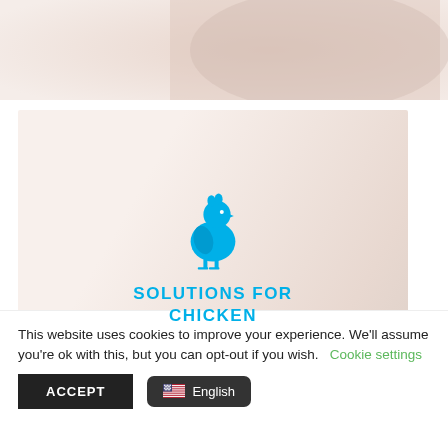[Figure (photo): Top portion of a product image showing powder or flour in a glass container, light pinkish-beige tones]
[Figure (illustration): Card with blue chicken icon and text 'SOLUTIONS FOR CHICKEN' on a light powder/flour background]
This website uses cookies to improve your experience. We'll assume you're ok with this, but you can opt-out if you wish.
Cookie settings
ACCEPT
English